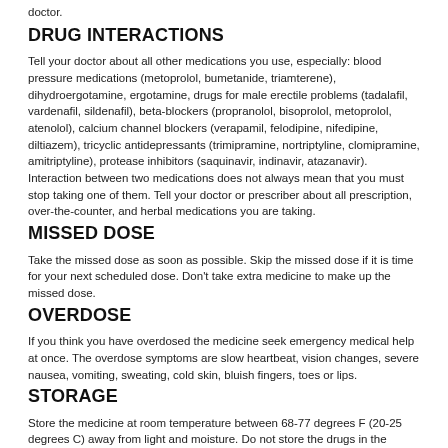doctor.
DRUG INTERACTIONS
Tell your doctor about all other medications you use, especially: blood pressure medications (metoprolol, bumetanide, triamterene), dihydroergotamine, ergotamine, drugs for male erectile problems (tadalafil, vardenafil, sildenafil), beta-blockers (propranolol, bisoprolol, metoprolol, atenolol), calcium channel blockers (verapamil, felodipine, nifedipine, diltiazem), tricyclic antidepressants (trimipramine, nortriptyline, clomipramine, amitriptyline), protease inhibitors (saquinavir, indinavir, atazanavir). Interaction between two medications does not always mean that you must stop taking one of them. Tell your doctor or prescriber about all prescription, over-the-counter, and herbal medications you are taking.
MISSED DOSE
Take the missed dose as soon as possible. Skip the missed dose if it is time for your next scheduled dose. Don't take extra medicine to make up the missed dose.
OVERDOSE
If you think you have overdosed the medicine seek emergency medical help at once. The overdose symptoms are slow heartbeat, vision changes, severe nausea, vomiting, sweating, cold skin, bluish fingers, toes or lips.
STORAGE
Store the medicine at room temperature between 68-77 degrees F (20-25 degrees C) away from light and moisture. Do not store the drugs in the bathroom. Keep all drugs away from reach of children and pets.
NOTE